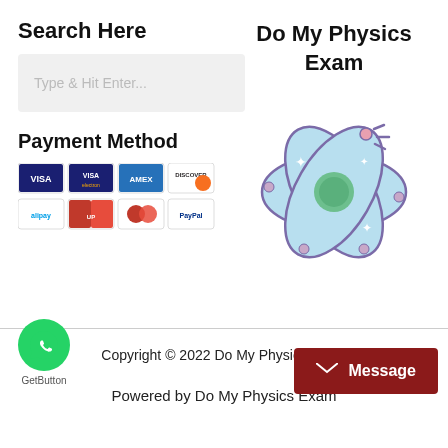Search Here
Type & Hit Enter...
Payment Method
[Figure (other): Payment method icons showing Visa, Visa Electron, American Express, Discover, Alipay, UnionPay, Maestro, Mastercard, Cirrus, PayPal, JCB, and another card icon in two rows]
Do My Physics Exam
[Figure (illustration): Cartoon atom illustration with purple orbital rings, light blue electron cloud shapes, a green nucleus in the center, sparkle stars, and small dots around it]
Copyright © 2022 Do My Physics Exam
Powered by Do My Physics Exam